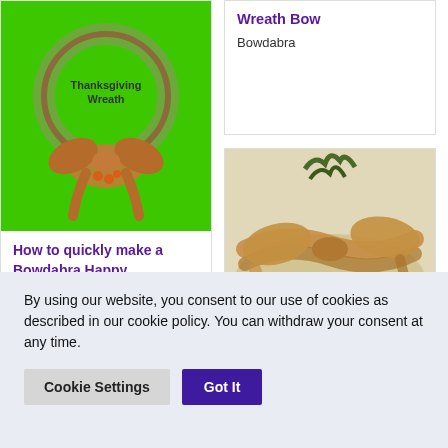[Figure (photo): Thanksgiving wreath with green fabric ring, autumn-colored bow with orange berries, on bright green background with text 'Thanksgiving Wreath']
How to quickly make a Bowdabra Happy Thanksgiving wreath
Bowdabra
Wreath Bow
Bowdabra
[Figure (photo): Fall decor bow arrangement with autumn-colored ribbon bows, greenery, and sheer golden mesh on white background]
Easy DIY Fall Decor Bows and Wreaths
Fall & Autumn
By using our website, you consent to our use of cookies as described in our cookie policy. You can withdraw your consent at any time.